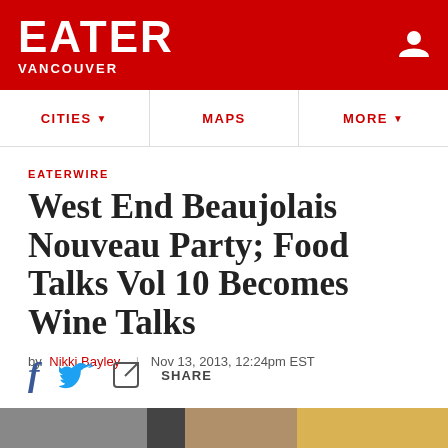EATER VANCOUVER
EATERWIRE
West End Beaujolais Nouveau Party; Food Talks Vol 10 Becomes Wine Talks
by Nikki Bayley | Nov 13, 2013, 12:24pm EST
[Figure (photo): Bottom portion of interior restaurant/bar photo showing pendant lamps and wooden elements]